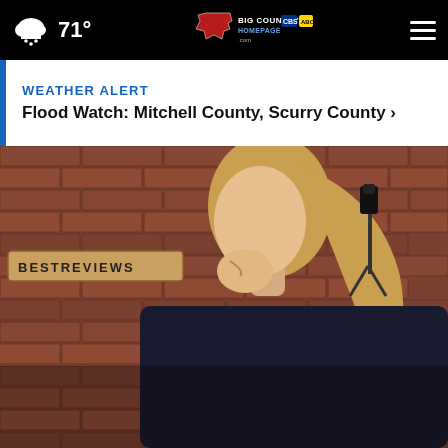71° — Big Country Homepage — Weather Alert: Flood Watch: Mitchell County, Scurry County
WEATHER ALERT
Flood Watch: Mitchell County, Scurry County ›
[Figure (photo): A smiling woman with long blonde hair in profile/three-quarter view, wearing a dark hoodie, standing in front of a red brick wall with a 'BESTREVIEWS' wooden sign. A green plant and a camera on a tripod are visible in the background.]